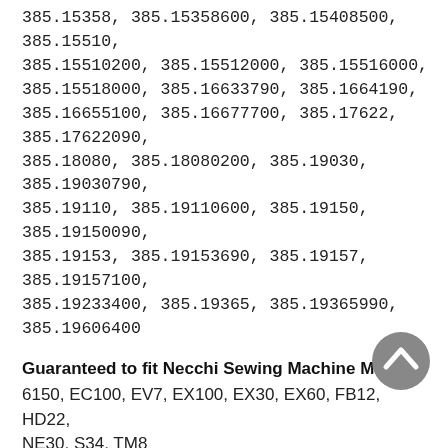385.15358, 385.15358600, 385.15408500, 385.15510, 385.15510200, 385.15512000, 385.15516000, 385.15518000, 385.16633790, 385.1664190, 385.16655100, 385.16677700, 385.17622, 385.17622090, 385.18080, 385.18080200, 385.19030, 385.19030790, 385.19110, 385.19110600, 385.19150, 385.19150090, 385.19153, 385.19153690, 385.19157, 385.19157100, 385.19233400, 385.19365, 385.19365990, 385.19606400
Guaranteed to fit Necchi Sewing Machine Models:
6150, EC100, EV7, EX100, EX30, EX60, FB12, HD22, NE30, S34, TM8
Guaranteed to fit Pfaff Sewing Machine Models:
1016 Hobby
Guaranteed to fit Viking Sewing Machine Models:
219, Huskystar 207, Huskystar 215